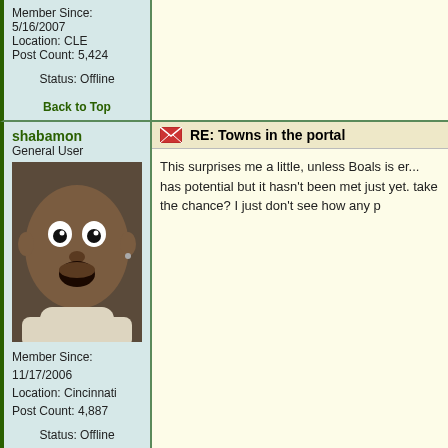Member Since: 5/16/2007
Location: CLE
Post Count: 5,424
Status: Offline
Back to Top
shabamon
General User
[Figure (photo): User avatar photo of a surprised-looking person with wide eyes and open mouth, wearing a white turtleneck]
Member Since: 11/17/2006
Location: Cincinnati
Post Count: 4,887
Status: Offline
Back to Top
RE: Towns in the portal
This surprises me a little, unless Boals is er... has potential but it hasn't been met just yet. take the chance? I just don't see how any p
Cellis033
General User
RE: Towns in the portal